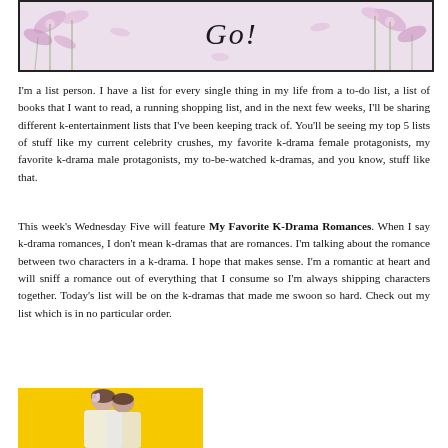[Figure (illustration): Decorative header banner with floral/flower background in pink/lavender tones, cursive script text, and www.weendizzle.com watermark]
I'm a list person. I have a list for every single thing in my life from a to-do list, a list of books that I want to read, a running shopping list, and in the next few weeks, I'll be sharing different k-entertainment lists that I've been keeping track of. You'll be seeing my top 5 lists of stuff like my current celebrity crushes, my favorite k-drama female protagonists, my favorite k-drama male protagonists, my to-be-watched k-dramas, and you know, stuff like that.
This week's Wednesday Five will feature My Favorite K-Drama Romances. When I say k-drama romances, I don't mean k-dramas that are romances. I'm talking about the romance between two characters in a k-drama. I hope that makes sense. I'm a romantic at heart and will sniff a romance out of everything that I consume so I'm always shipping characters together. Today's list will be on the k-dramas that made me swoon so hard. Check out my list which is in no particular order.
[Figure (photo): Photo of two people (likely K-drama actors) on a yellow background, one appears to be leaning against the other, both in light/white clothing]